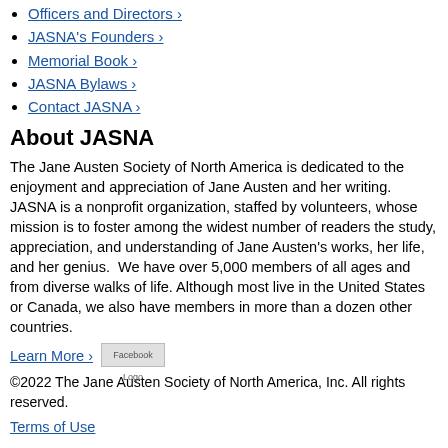Officers and Directors ›
JASNA's Founders ›
Memorial Book ›
JASNA Bylaws ›
Contact JASNA ›
About JASNA
The Jane Austen Society of North America is dedicated to the enjoyment and appreciation of Jane Austen and her writing. JASNA is a nonprofit organization, staffed by volunteers, whose mission is to foster among the widest number of readers the study, appreciation, and understanding of Jane Austen's works, her life, and her genius.  We have over 5,000 members of all ages and from diverse walks of life. Although most live in the United States or Canada, we also have members in more than a dozen other countries.
Learn More ›
[Figure (logo): Facebook Logo]
©2022 The Jane Austen Society of North America, Inc. All rights reserved.
Terms of Use